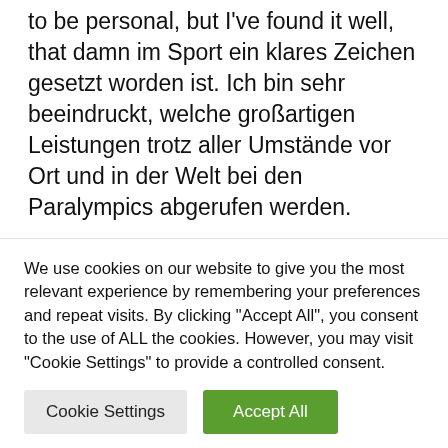to be personal, but I've found it well, that damn im Sport ein klares Zeichen gesetzt worden ist. Ich bin sehr beeindruckt, welche großartigen Leistungen trotz aller Umstände vor Ort und in der Welt bei den Paralympics abgerufen werden.
You are training for Paris 2024. How are you training? How old is the pandemic justifiable?
We use cookies on our website to give you the most relevant experience by remembering your preferences and repeat visits. By clicking "Accept All", you consent to the use of ALL the cookies. However, you may visit "Cookie Settings" to provide a controlled consent.